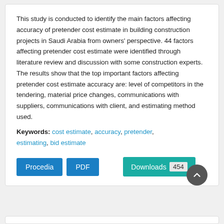This study is conducted to identify the main factors affecting accuracy of pretender cost estimate in building construction projects in Saudi Arabia from owners' perspective. 44 factors affecting pretender cost estimate were identified through literature review and discussion with some construction experts. The results show that the top important factors affecting pretender cost estimate accuracy are: level of competitors in the tendering, material price changes, communications with suppliers, communications with client, and estimating method used.
Keywords: cost estimate, accuracy, pretender, estimating, bid estimate